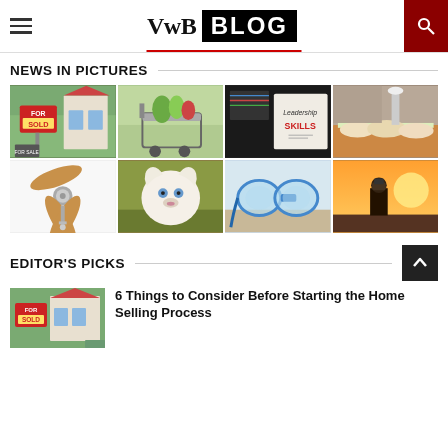VwB BLOG
NEWS IN PICTURES
[Figure (photo): Grid of 8 photos: real estate for sale/sold sign, grocery cart with vegetables, leadership skills board, food catering table, ceiling fan, white puppy, scuba diving goggles, person with camera at sunset]
EDITOR'S PICKS
[Figure (photo): Thumbnail of real estate for sale sign]
6 Things to Consider Before Starting the Home Selling Process